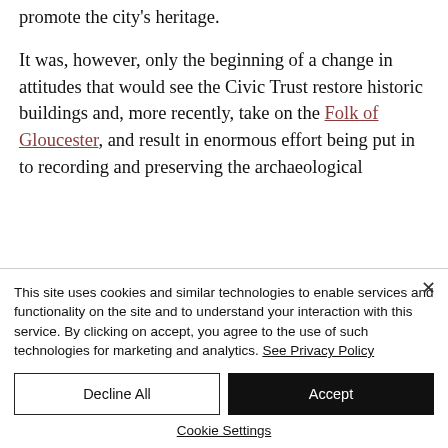promote the city's heritage.
It was, however, only the beginning of a change in attitudes that would see the Civic Trust restore historic buildings and, more recently, take on the Folk of Gloucester, and result in enormous effort being put in to recording and preserving the archaeological
This site uses cookies and similar technologies to enable services and functionality on the site and to understand your interaction with this service. By clicking on accept, you agree to the use of such technologies for marketing and analytics. See Privacy Policy
Decline All
Accept
Cookie Settings